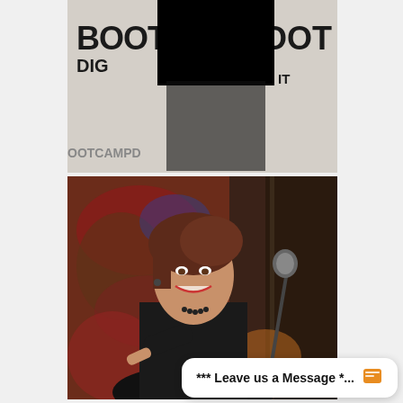[Figure (photo): Top photo of a person with their face redacted (blacked out), standing in front of a backdrop with 'BOOT*DIGITAL' branding logo repeated. The backdrop shows orange and white text with a star motif.]
[Figure (photo): Photo of a woman with reddish-brown hair, smiling and pointing toward the camera. She is wearing a black jacket and a beaded necklace, standing at or near a microphone stand. The background shows a dark curtain and warm ambient lighting.]
*** Leave us a Message *...